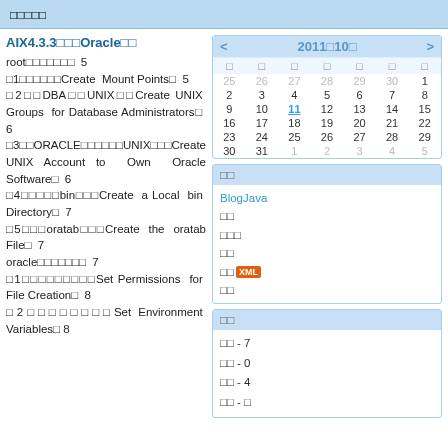□□□□□
AIX4.3.3□□□Oracle□□
root□□□□□□□ 5 □1□□□□□□Create Mount Points□ 5 □2□□DBA□□UNIX□□Create UNIX Groups for Database Administrators□ 6 □3□□ORACLE□□□□□□UNIX□□□Create UNIX Account to Own Oracle Software□ 6 □4□□□□□bin□□□Create a Local bin Directory□ 7 □5□□□oratab□□□Create the oratab File□ 7 oracle□□□□□□□ 7 □1□□□□□□□□□Set Permissions for File Creation□ 8 □2□□□□□□□□Set Environment Variables□ 8
[Figure (other): Calendar widget showing October 2011 with navigation arrows, day headers, and date grid. Date 11 is highlighted as today.]
| □ | □ | □ | □ | □ | □ | □ |
| --- | --- | --- | --- | --- | --- | --- |
| 25 | 26 | 27 | 28 | 29 | 30 | 1 |
| 2 | 3 | 4 | 5 | 6 | 7 | 8 |
| 9 | 10 | 11 | 12 | 13 | 14 | 15 |
| 16 | 17 | 18 | 19 | 20 | 21 | 22 |
| 23 | 24 | 25 | 26 | 27 | 28 | 29 |
| 30 | 31 | 1 | 2 | 3 | 4 | 5 |
□□
BlogJava
□□
□□□
□□
□□ XML
□□
□□
□□ - 7
□□ - 0
□□ - 4
□□ - □